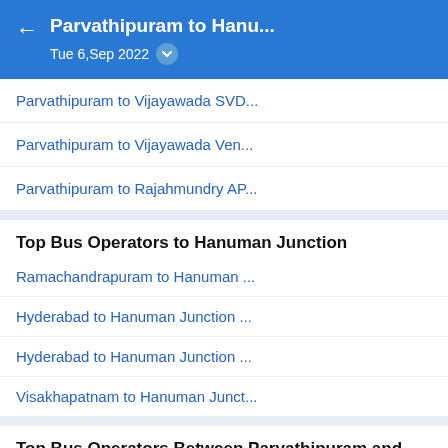Parvathipuram to Hanu... Tue 6,Sep 2022
Parvathipuram to Vijayawada SVD...
Parvathipuram to Vijayawada Ven...
Parvathipuram to Rajahmundry AP...
Top Bus Operators to Hanuman Junction
Ramachandrapuram to Hanuman ...
Hyderabad to Hanuman Junction ...
Hyderabad to Hanuman Junction ...
Visakhapatnam to Hanuman Junct...
Top Bus Operators Between Parvathipuram and Hanuman Junction